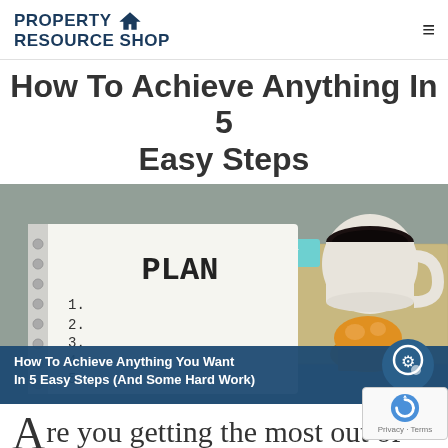PROPERTY RESOURCE SHOP
How To Achieve Anything In 5 Easy Steps
[Figure (photo): A notebook open to a page that reads PLAN with a numbered list (1-5), a MONDAY sticky tab, a cup of coffee, a muffin, and a hessian cloth on a wooden table surface. An overlay banner reads: How To Achieve Anything You Want In 5 Easy Steps (And Some Hard Work)]
Are you getting the most out of your 4000